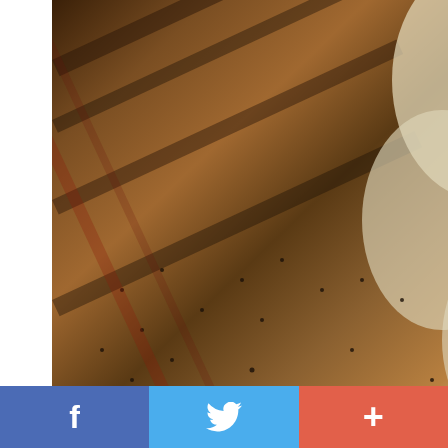[Figure (photo): Beekeeper in white gloves handling wooden honeycomb frames covered with bees in a beehive box]
UNPRECEDENTED LOSSES — In recent years, beekeepers rep... average 30 percent of all honey bee colonies each winter, twice th... sustainable.
WE CAN ELIMINATE THESE PESTICIDES
Given the consequences for our farms and our food, you'd think we'd...